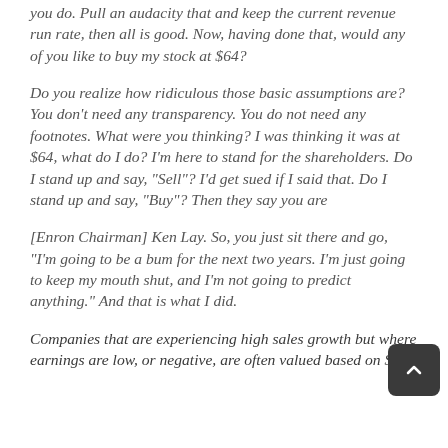you do. Pull an audacity that and keep the current revenue run rate, then all is good. Now, having done that, would any of you like to buy my stock at $64?
Do you realize how ridiculous those basic assumptions are? You don't need any transparency. You do not need any footnotes. What were you thinking? I was thinking it was at $64, what do I do? I'm here to stand for the shareholders. Do I stand up and say, "Sell"? I'd get sued if I said that. Do I stand up and say, "Buy"? Then they say you are
[Enron Chairman] Ken Lay. So, you just sit there and go, "I'm going to be a bum for the next two years. I'm just going to keep my mouth shut, and I'm not going to predict anything." And that is what I did.
Companies that are experiencing high sales growth but where earnings are low, or negative, are often valued based on Sales